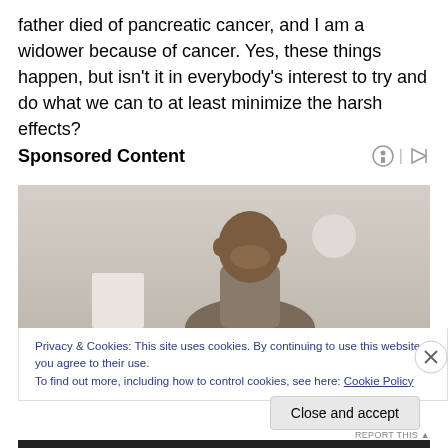father died of pancreatic cancer, and I am a widower because of cancer. Yes, these things happen, but isn't it in everybody's interest to try and do what we can to at least minimize the harsh effects?
Sponsored Content
[Figure (photo): A smiling man in an office setting with a monitor and clock in background, part of a sponsored advertisement.]
Privacy & Cookies: This site uses cookies. By continuing to use this website, you agree to their use.
To find out more, including how to control cookies, see here: Cookie Policy
Close and accept